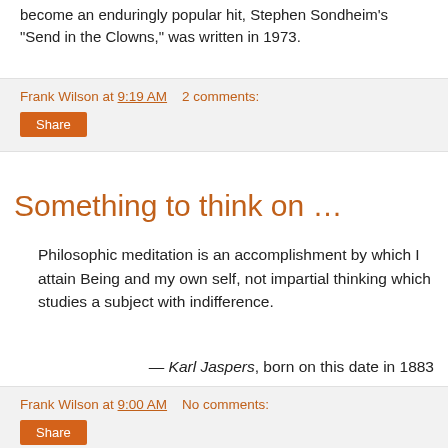become an enduringly popular hit, Stephen Sondheim's “Send in the Clowns,” was written in 1973.
Frank Wilson at 9:19 AM   2 comments:
Share
Something to think on …
Philosophic meditation is an accomplishment by which I attain Being and my own self, not impartial thinking which studies a subject with indifference.
— Karl Jaspers, born on this date in 1883
Frank Wilson at 9:00 AM   No comments:
Share